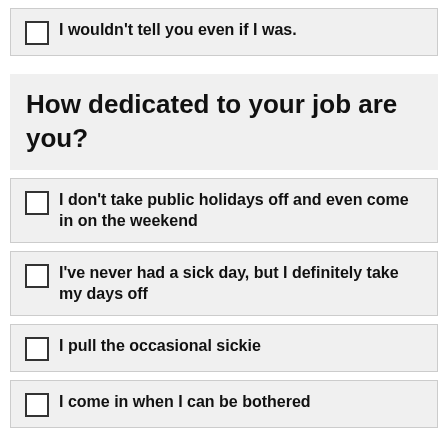I wouldn't tell you even if I was.
How dedicated to your job are you?
I don't take public holidays off and even come in on the weekend
I've never had a sick day, but I definitely take my days off
I pull the occasional sickie
I come in when I can be bothered